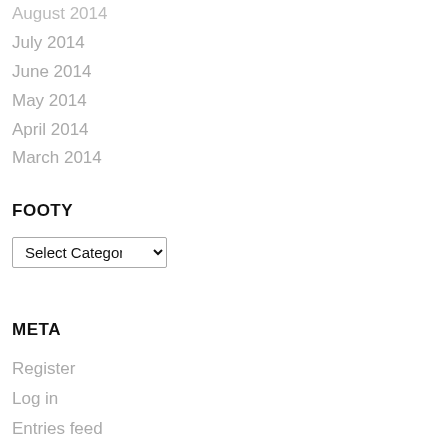August 2014
July 2014
June 2014
May 2014
April 2014
March 2014
FOOTY
Select Category (dropdown)
META
Register
Log in
Entries feed
Comments feed